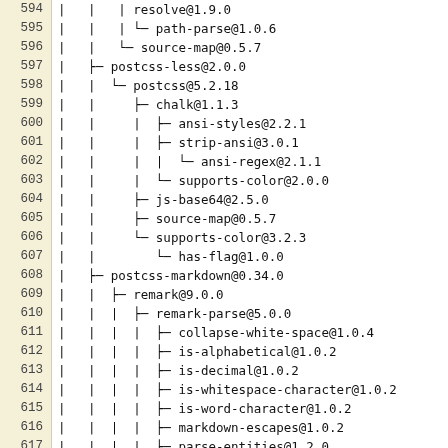Dependency tree listing lines 594-618, showing npm package tree structure with packages: resolve@1.9.0 (partial), path-parse@1.0.6, source-map@0.5.7, postcss-less@2.0.0, postcss@5.2.18, chalk@1.1.3, ansi-styles@2.2.1, strip-ansi@3.0.1, ansi-regex@2.1.1, supports-color@2.0.0, js-base64@2.5.0, source-map@0.5.7, supports-color@3.2.3, has-flag@1.0.0, postcss-markdown@0.34.0, remark@9.0.0, remark-parse@5.0.0, collapse-white-space@1.0.4, is-alphabetical@1.0.2, is-decimal@1.0.2, is-whitespace-character@1.0.2, is-word-character@1.0.2, markdown-escapes@1.0.2, parse-entities@1.2.0, character-entities@1.2.2, character-entities-legacy@1.1.0 (partial)